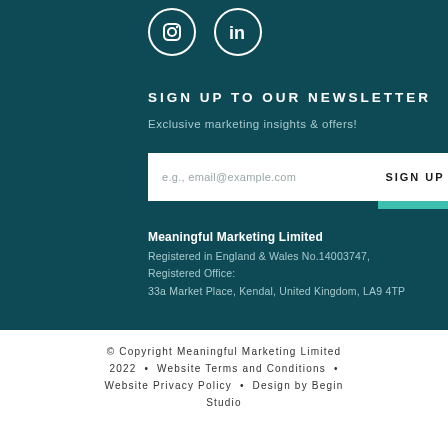[Figure (logo): Instagram and LinkedIn social media icons (white on dark teal background)]
SIGN UP TO OUR NEWSLETTER
Exclusive marketing insights & offers!
e.g., email@example.com    SIGN UP
Meaningful Marketing Limited
Registered in England & Wales No.14003747,
Registered Office:
33a Market Place, Kendal, United Kingdom, LA9 4TP
© Copyright Meaningful Marketing Limited 2022 • Website Terms and Conditions • Website Privacy Policy • Design by Begin Studio